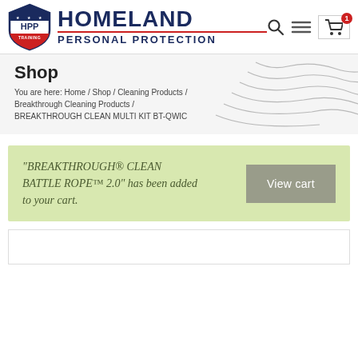Homeland Personal Protection — HPP Training
Shop
You are here: Home / Shop / Cleaning Products / Breakthrough Cleaning Products / BREAKTHROUGH CLEAN MULTI KIT BT-QWIC
"BREAKTHROUGH® CLEAN BATTLE ROPE™ 2.0" has been added to your cart.
View cart